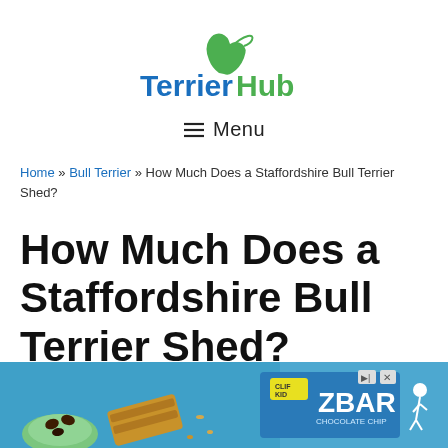[Figure (logo): Terrier Hub logo with green dog silhouette icon above text reading 'Terrier Hub' in blue and green bold letters]
≡ Menu
Home » Bull Terrier » How Much Does a Staffordshire Bull Terrier Shed?
How Much Does a Staffordshire Bull Terrier Shed?
[Figure (photo): Advertisement banner showing chocolate chip granola bars (ZBAR) on a blue background with advertising close icons]